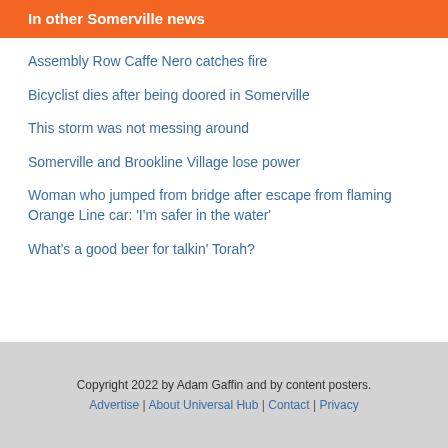In other Somerville news
Assembly Row Caffe Nero catches fire
Bicyclist dies after being doored in Somerville
This storm was not messing around
Somerville and Brookline Village lose power
Woman who jumped from bridge after escape from flaming Orange Line car: 'I'm safer in the water'
What's a good beer for talkin' Torah?
Copyright 2022 by Adam Gaffin and by content posters. Advertise | About Universal Hub | Contact | Privacy